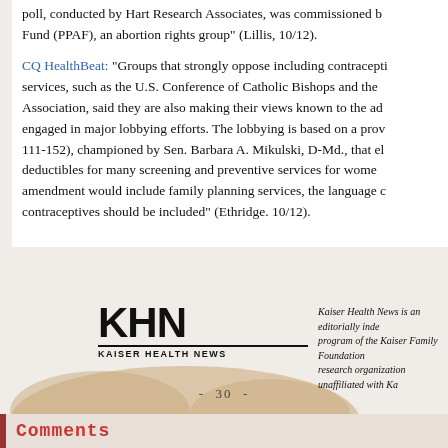poll, conducted by Hart Research Associates, was commissioned by the Planned Parenthood Action Fund (PPAF), an abortion rights group" (Lillis, 10/12).
CQ HealthBeat: "Groups that strongly oppose including contraceptive services, such as the U.S. Conference of Catholic Bishops and the American Medical Association, said they are also making their views known to the administration and engaged in major lobbying efforts. The lobbying is based on a provision of law (PL 111-152), championed by Sen. Barbara A. Mikulski, D-Md., that eliminates cost-sharing and deductibles for many screening and preventive services for women. ... If the Mikulski amendment would include family planning services, the language could be read to include contraceptives should be included" (Ethridge. 10/12).
[Figure (logo): Kaiser Health News logo with KHN in large bold text, underline, and KAISER HEALTH NEWS subtitle]
Kaiser Health News is an editorially independent program of the Kaiser Family Foundation, a nonprofit research organization unaffiliated with Ka...
- 30 -
Comments